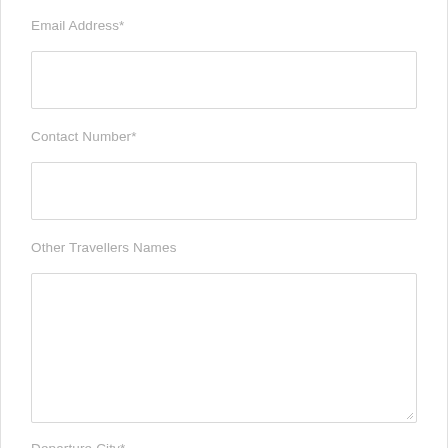Email Address*
[Figure (other): Empty text input field for Email Address]
Contact Number*
[Figure (other): Empty text input field for Contact Number]
Other Travellers Names
[Figure (other): Empty textarea input field for Other Travellers Names]
Departure City*
[Figure (other): Empty text input field for Departure City (partially visible)]